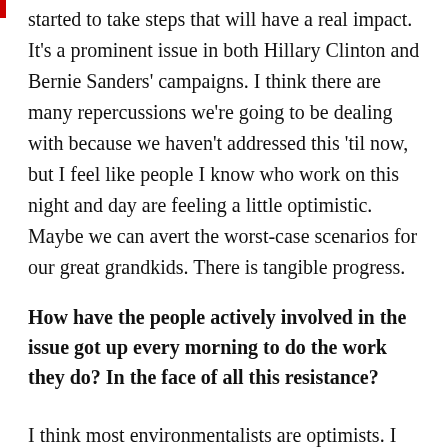started to take steps that will have a real impact. It's a prominent issue in both Hillary Clinton and Bernie Sanders' campaigns. I think there are many repercussions we're going to be dealing with because we haven't addressed this 'til now, but I feel like people I know who work on this night and day are feeling a little optimistic. Maybe we can avert the worst-case scenarios for our great grandkids. There is tangible progress.
How have the people actively involved in the issue got up every morning to do the work they do? In the face of all this resistance?
I think most environmentalists are optimists. I